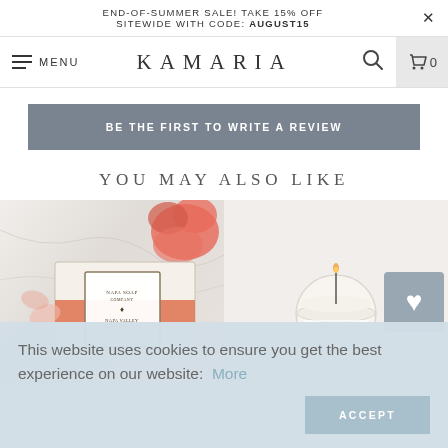END-OF-SUMMER SALE! TAKE 15% OFF SITEWIDE WITH CODE: AUGUST15
MENU  KAMARIA  [search] [cart] 0
BE THE FIRST TO WRITE A REVIEW
YOU MAY ALSO LIKE
[Figure (photo): Napa Soap Company bar soap on marble surface with pink flower decoration]
[Figure (photo): White candle in glass jar on light background with heart icon overlay]
This website uses cookies to ensure you get the best experience on our website:  More
ACCEPT